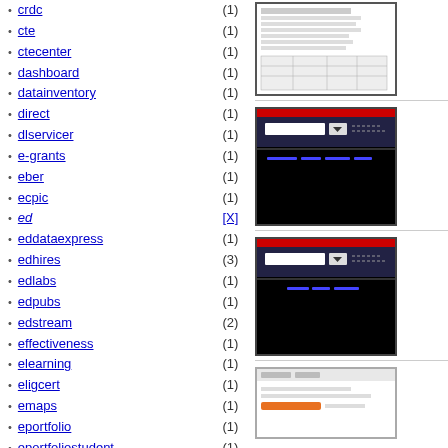crdc (1)
cte (1)
ctecenter (1)
dashboard (1)
datainventory (1)
direct (1)
dlservicer (1)
e-grants (1)
eber (1)
ecpic (1)
ed [X]
eddataexpress (1)
edhires (3)
edlabs (1)
edpubs (1)
edstream (2)
effectiveness (1)
elearning (1)
eligcert (1)
emaps (1)
eportfolio (1)
eportfoliostudent (1)
eric (4)
ezaudit (1)
faaaccess (1)
fafsa (6)
fafsa4caster (1)
fafsacm (1)
[Figure (screenshot): Screenshot thumbnail of a document page with table]
[Figure (screenshot): Screenshot thumbnail of a dark UI with blue header and dropdown]
[Figure (screenshot): Screenshot thumbnail of a dark UI with blue header and dropdown, similar to previous]
[Figure (screenshot): Screenshot thumbnail of a webpage with navigation]